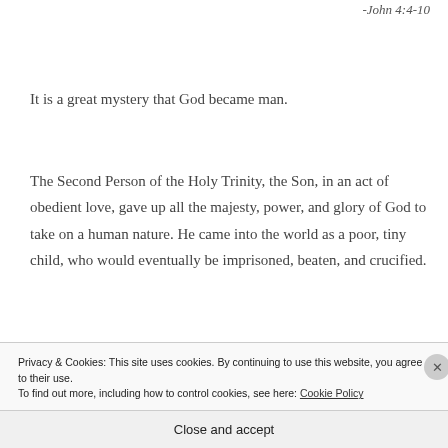-John 4:4-10
It is a great mystery that God became man.
The Second Person of the Holy Trinity, the Son, in an act of obedient love, gave up all the majesty, power, and glory of God to take on a human nature. He came into the world as a poor, tiny child, who would eventually be imprisoned, beaten, and crucified.
Privacy & Cookies: This site uses cookies. By continuing to use this website, you agree to their use.
To find out more, including how to control cookies, see here: Cookie Policy
Close and accept